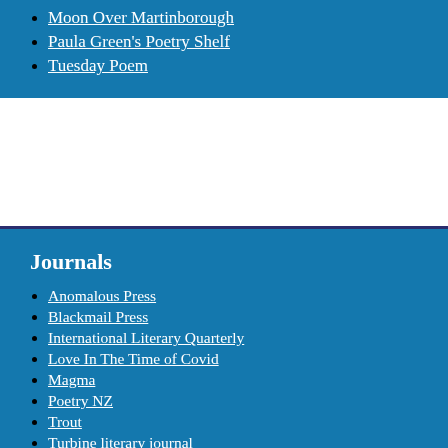Moon Over Martinborough
Paula Green's Poetry Shelf
Tuesday Poem
Journals
Anomalous Press
Blackmail Press
International Literary Quarterly
Love In The Time of Covid
Magma
Poetry NZ
Trout
Turbine literary journal